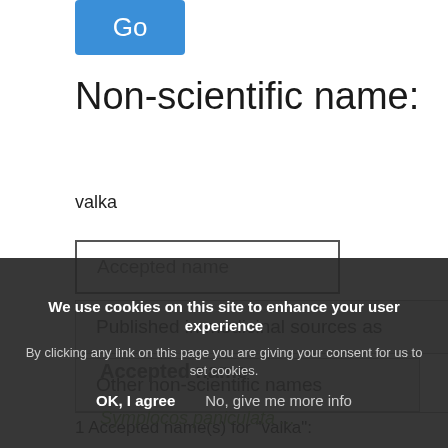[Figure (screenshot): Blue 'Go' button]
Non-scientific name:
valka
Accepted name
Published in medicinal sources as
Other non-scientific names
1 Accepted name(s) for "valka":
Accepted name
Symplocos paniculata ...
We use cookies on this site to enhance your user experience
By clicking any link on this page you are giving your consent for us to set cookies.
OK, I agree    No, give me more info